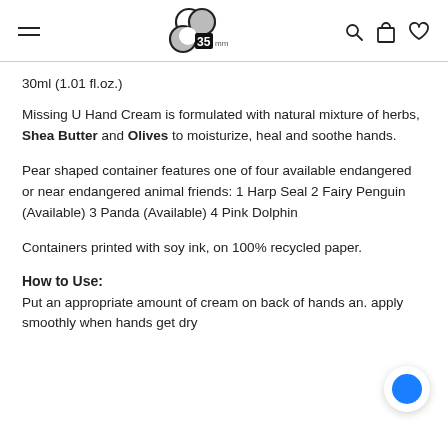35mm logo header with navigation icons
30ml (1.01 fl.oz.)
Missing U Hand Cream is formulated with natural mixture of herbs, Shea Butter and Olives to moisturize, heal and soothe hands.
Pear shaped container features one of four available endangered or near endangered animal friends: 1 Harp Seal 2 Fairy Penguin (Available) 3 Panda (Available) 4 Pink Dolphin
Containers printed with soy ink, on 100% recycled paper.
How to Use:
Put an appropriate amount of cream on back of hands and apply smoothly when hands get dry